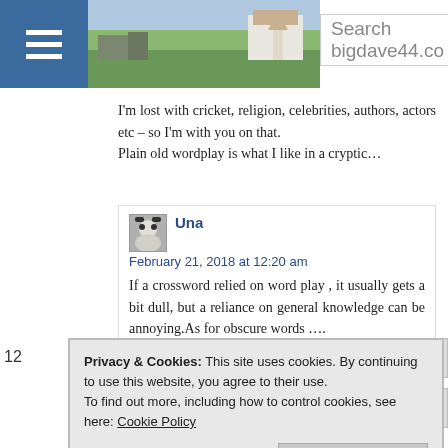Search bigdave44.co
I'm lost with cricket, religion, celebrities, authors, actors etc – so I'm with you on that.
Plain old wordplay is what I like in a cryptic…
Una
February 21, 2018 at 12:20 am
If a crossword relied on word play , it usually gets a bit dull, but a reliance on general knowledge can be annoying.As for obscure words ….
Privacy & Cookies: This site uses cookies. By continuing to use this website, you agree to their use.
To find out more, including how to control cookies, see here: Cookie Policy
Close and accept
12
I enjoyed tussling with this one. My favorite clue was 14d. Thanks to setter and blogger.